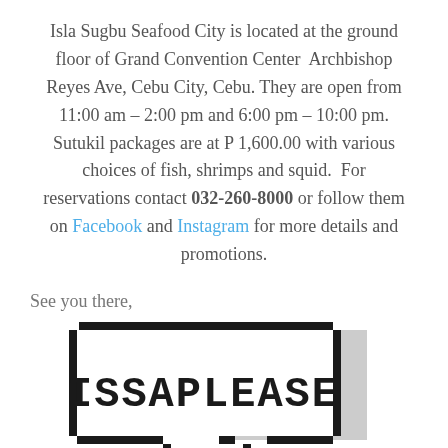Isla Sugbu Seafood City is located at the ground floor of Grand Convention Center  Archbishop Reyes Ave, Cebu City, Cebu. They are open from 11:00 am – 2:00 pm and 6:00 pm – 10:00 pm. Sutukil packages are at P 1,600.00 with various choices of fish, shrimps and squid.  For reservations contact 032-260-8000 or follow them on Facebook and Instagram for more details and promotions.
See you there,
[Figure (logo): Pixel-art style speech bubble / badge with the text ISSAPLEASE in bold pixel font, black border on white background, with small pixel speech bubble tails at the bottom.]